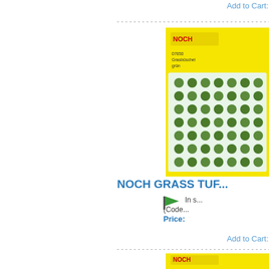Add to Cart:
[Figure (photo): NOCH grass tufts product in yellow packaging showing circular grass tufts arranged in grid pattern on blister card]
NOCH GRASS TUF...
[Figure (illustration): Green flag icon indicating in stock status]
In s...
(Code...
Price:
Add to Cart:
[Figure (photo): NOCH product in yellow packaging, partially visible at bottom of page]